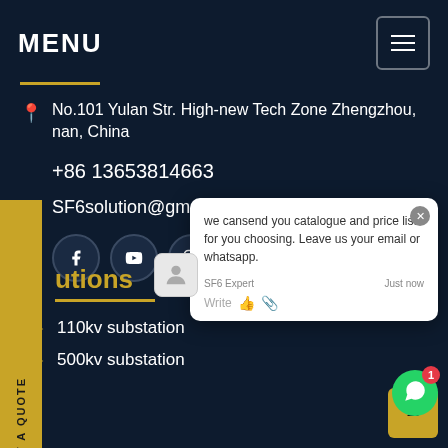MENU
No.101 Yulan Str. High-new Tech Zone Zhengzhou, nan, China
+86 13653814663
SF6solution@gmail.com
[Figure (screenshot): Chat popup showing 'we cansend you catalogue and price list for you choosing. Leave us your email or whatsapp.' with SF6 Expert agent, close button, and write area.]
REQUEST A QUOTE
utions
110kv substation
500kv substation